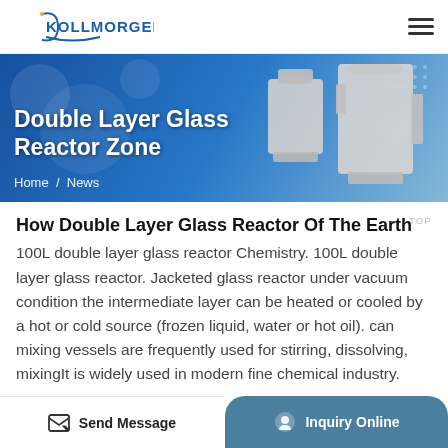KOLLMORGEN
[Figure (illustration): Blue banner background with 'Double Layer Glass Reactor Zone' text, laboratory reactor equipment photos on the right side, and Home / News breadcrumb navigation]
How Double Layer Glass Reactor Of The Earth
100L double layer glass reactor Chemistry. 100L double layer glass reactor. Jacketed glass reactor under vacuum condition the intermediate layer can be heated or cooled by a hot or cold source (frozen liquid, water or hot oil). can mixing vessels are frequently used for stirring, dissolving, mixingIt is widely used in modern fine chemical industry.
Send Message | Inquiry Online